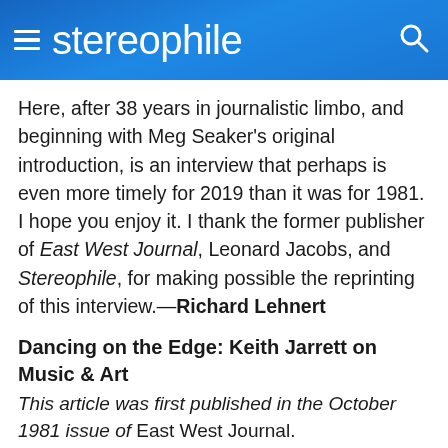stereophile
Here, after 38 years in journalistic limbo, and beginning with Meg Seaker's original introduction, is an interview that perhaps is even more timely for 2019 than it was for 1981. I hope you enjoy it. I thank the former publisher of East West Journal, Leonard Jacobs, and Stereophile, for making possible the reprinting of this interview.—Richard Lehnert
Dancing on the Edge: Keith Jarrett on Music & Art
This article was first published in the October 1981 issue of East West Journal.
Keith Jarrett, thirty-six, has been playing the piano since the age of three. In 1966 he joined saxophonist